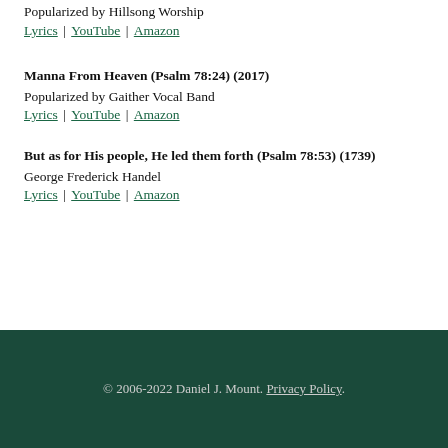Popularized by Hillsong Worship
Lyrics | YouTube | Amazon
Manna From Heaven (Psalm 78:24) (2017)
Popularized by Gaither Vocal Band
Lyrics | YouTube | Amazon
But as for His people, He led them forth (Psalm 78:53) (1739)
George Frederick Handel
Lyrics | YouTube | Amazon
© 2006-2022 Daniel J. Mount. Privacy Policy.